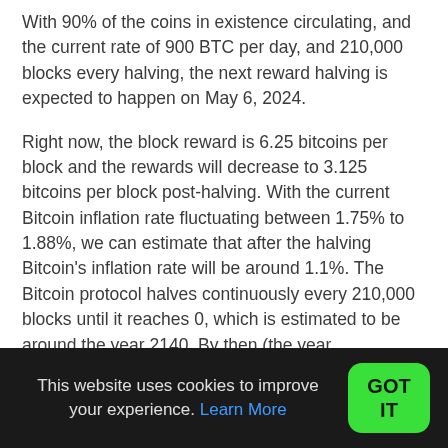With 90% of the coins in existence circulating, and the current rate of 900 BTC per day, and 210,000 blocks every halving, the next reward halving is expected to happen on May 6, 2024.
Right now, the block reward is 6.25 bitcoins per block and the rewards will decrease to 3.125 bitcoins per block post-halving. With the current Bitcoin inflation rate fluctuating between 1.75% to 1.88%, we can estimate that after the halving Bitcoin's inflation rate will be around 1.1%. The Bitcoin protocol halves continuously every 210,000 blocks until it reaches 0, which is estimated to be around the year 2140. By then (the year
This website uses cookies to improve your experience. Learn More
GOT IT